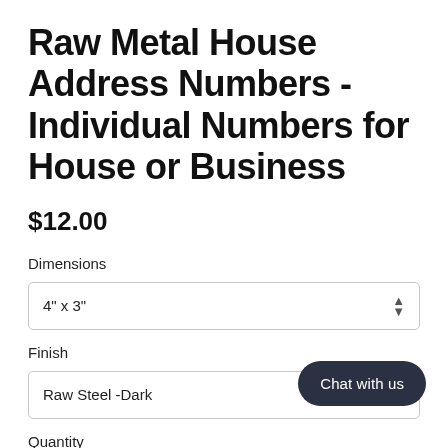Raw Metal House Address Numbers - Individual Numbers for House or Business
$12.00
Dimensions
4" x 3"
Finish
Raw Steel -Dark
Quantity
1
Chat with us